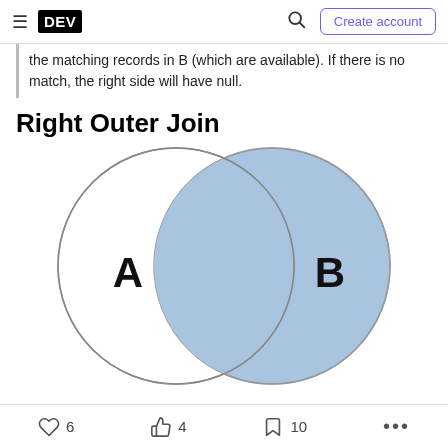DEV | Create account
the matching records in B (which are available). If there is no match, the right side will have null.
Right Outer Join
[Figure (illustration): Venn diagram showing Right Outer Join: two overlapping circles labeled A (left, white/unshaded) and B (right, blue shaded). The right circle B and its intersection with A are highlighted in blue, representing the right outer join result.]
6  4  10  ...